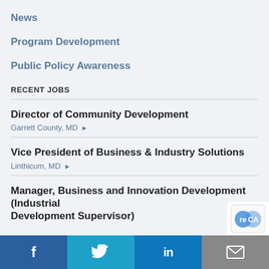News
Program Development
Public Policy Awareness
RECENT JOBS
Director of Community Development
Garrett County, MD ▶
Vice President of Business & Industry Solutions
Linthicum, MD ▶
Manager, Business and Innovation Development (Industrial Development Supervisor)